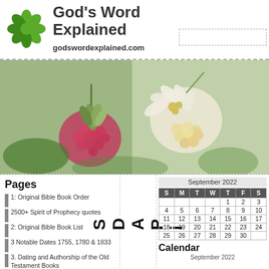[Figure (logo): Green flower/star logo for God's Word Explained website]
God's Word Explained
godswordexplained.com
[Figure (photo): Close-up photo of raspberries and flowers on a plant with blurred green background]
Pages
1: Original Bible Book Order
2500+ Spirit of Prophecy quotes
2: Original Bible Book List
3 Notable Dates 1755, 1780 & 1833
3. Dating and Authorship of the Old Testament Books
A Beautiful Customised Delightfully Exciting Free Gift
An Earthly Sanctuary for God
S D A P i
| S | M | T | W | T | F | S |
| --- | --- | --- | --- | --- | --- | --- |
|  |  |  |  | 1 | 2 | 3 |
| 4 | 5 | 6 | 7 | 8 | 9 | 10 |
| 11 | 12 | 13 | 14 | 15 | 16 | 17 |
| 18 | 19 | 20 | 21 | 22 | 23 | 24 |
| 25 | 26 | 27 | 28 | 29 | 30 |  |
Calendar
September 2022